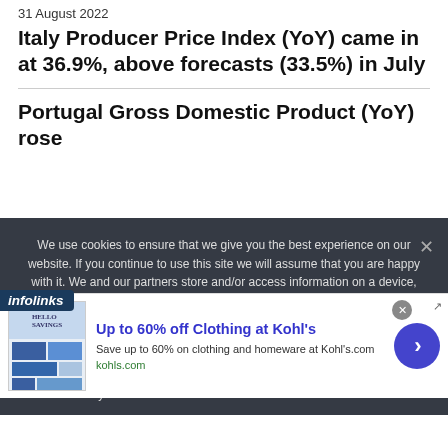31 August 2022
Italy Producer Price Index (YoY) came in at 36.9%, above forecasts (33.5%) in July
Portugal Gross Domestic Product (YoY) rose
We use cookies to ensure that we give you the best experience on our website. If you continue to use this site we will assume that you are happy with it. We and our partners store and/or access information on a device, such as unique IDs in cookies to process personal data. You may accept or manage your choices by clicking below, including your right to object where legitimate interest is used, or at any time in the privacy policy page. These choices will be signalled to our partners and will not affect browsing data. We and our partners process data to provide: Use precise geolocation data. Actively scan device characteristics for identification. Store and/or
[Figure (screenshot): Infolinks advertising label bar]
[Figure (screenshot): Advertisement banner: Up to 60% off Clothing at Kohl's - Save up to 60% on clothing and homeware at Kohl's.com - kohls.com]